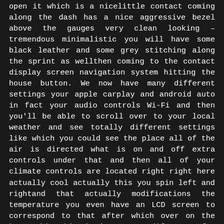open it which is a nicelittle contact coming along the dash has a nice aggressive bezel above the gauges very clean looking – tremendous minimalistic you will have some black leather and some grey stitching along the sprint as wellthen coming to the contact display screen navigation system hitting the house button. We now have many different settings your apple carplay and android auto in fact your audio controls Wi-Fi and then you'll be able to scroll over to your local weather and see totally different settings like which you could see the place all of the air is directed what is on and off extra controls under that and then all of your climate controls are located right right here actually cool actually this you spin left and rightand that actually modifications the temperature you even have an LCD screen to correspond to that after which over on the best side this is how you modify your fan speed you get a bit of screen as effectively and your analysis a see all the totally different buttons your defogger you're the Alcantara on the shift knob as well asthe shifter boot very straightforward to engage you to gear brief shifter extraordinarily sighs nice weighted shift knob to present Subaru Legacy 2020 Interior.